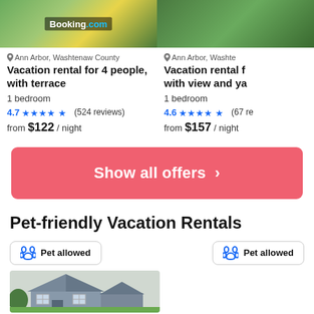[Figure (screenshot): Booking.com property listing card - left: vacation rental with terrace]
Ann Arbor, Washtenaw County
Vacation rental for 4 people, with terrace
1 bedroom
4.7 ★★★★★ (524 reviews)
from $122 / night
[Figure (screenshot): Booking.com property listing card - right: vacation rental with view and yard]
Ann Arbor, Washte...
Vacation rental f... with view and ya...
1 bedroom
4.6 ★★★★★ (67 re...)
from $157 / night
Show all offers ›
Pet-friendly Vacation Rentals
Pet allowed
Pet allowed
[Figure (photo): House exterior photo showing gray siding house]